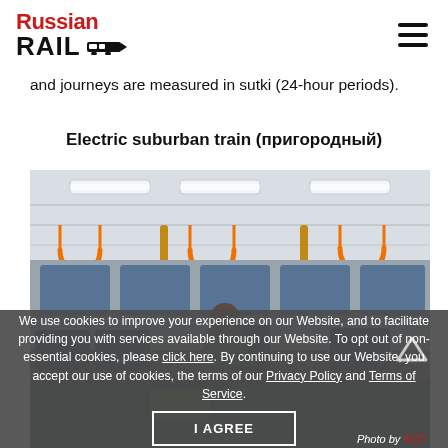Russian RAIL [logo with train icon] [hamburger menu]
and journeys are measured in sutki (24-hour periods).
Electric suburban train (пригородный)
[Figure (photo): Interior of an electric suburban train (пригородный), showing orange grab handles, white ceiling panels with fluorescent lights, and passengers in blue/dark seats.]
We use cookies to improve your experience on our Website, and to facilitate providing you with services available through our Website. To opt out of non-essential cookies, please click here. By continuing to use our Website, you accept our use of cookies, the terms of our Privacy Policy and Terms of Service.
Photo by RZD